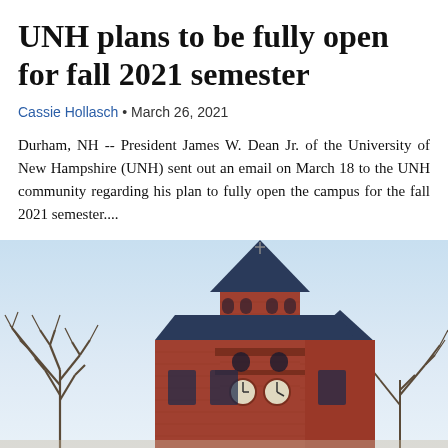UNH plans to be fully open for fall 2021 semester
Cassie Hollasch • March 26, 2021
Durham, NH -- President James W. Dean Jr. of the University of New Hampshire (UNH) sent out an email on March 18 to the UNH community regarding his plan to fully open the campus for the fall 2021 semester....
[Figure (photo): Exterior photograph of a red brick university building with a tall pointed clock tower, bare winter trees in the foreground, and a light blue sky in the background.]